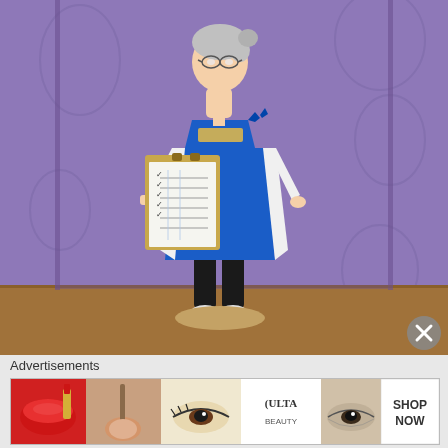[Figure (photo): A doll dressed in a blue apron over a white floral long-sleeve shirt, wearing glasses with gray hair in a bun, holding a clipboard with a checklist. Standing on a wooden platform against a purple patterned background.]
[Figure (photo): Advertisement banner for ULTA Beauty, showing close-up images of makeup looks including red lipstick, makeup brush, eye makeup, ULTA Beauty logo, smoky eyes, and a 'SHOP NOW' call to action.]
Advertisements